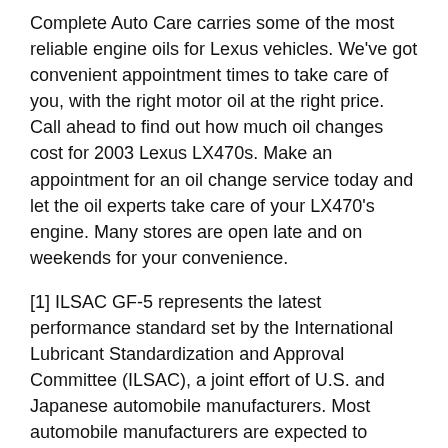Complete Auto Care carries some of the most reliable engine oils for Lexus vehicles. We've got convenient appointment times to take care of you, with the right motor oil at the right price. Call ahead to find out how much oil changes cost for 2003 Lexus LX470s. Make an appointment for an oil change service today and let the oil experts take care of your LX470's engine. Many stores are open late and on weekends for your convenience.
[1] ILSAC GF-5 represents the latest performance standard set by the International Lubricant Standardization and Approval Committee (ILSAC), a joint effort of U.S. and Japanese automobile manufacturers. Most automobile manufacturers are expected to recommend oils that meet ILSAC GF-5. API SN is the most recent service category issued by API's Lubricants Group. Oils meeting API SN and the new “Resource Conserving” designation meet all ILSAC GF-5 performance requirements.